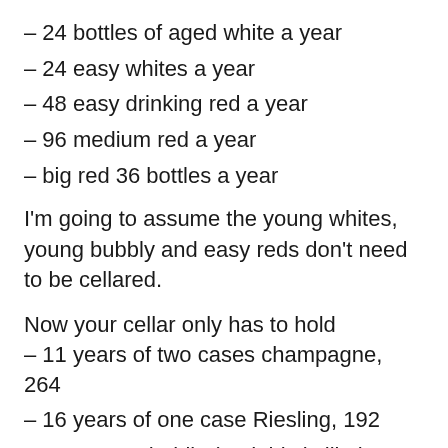– 24 bottles of aged white a year
– 24 easy whites a year
– 48 easy drinking red a year
– 96 medium red a year
– big red 36 bottles a year
I'm going to assume the young whites, young bubbly and easy reds don't need to be cellared.
Now your cellar only has to hold
– 11 years of two cases champagne, 264
– 16 years of one case Riesling, 192
– 11 years Chablis (and this is likely to short)